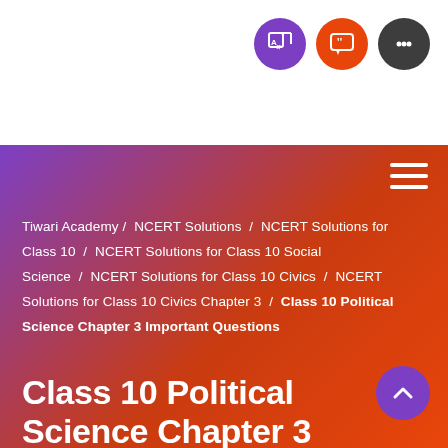[Figure (other): Top bar with three icon buttons: translate (purple), quote (orange-red), chat (dark gray)]
[Figure (other): Purple-to-red gradient banner with hamburger menu]
Tiwari Academy / NCERT Solutions / NCERT Solutions for Class 10 / NCERT Solutions for Class 10 Social Science / NCERT Solutions for Class 10 Civics / NCERT Solutions for Class 10 Civics Chapter 3 / Class 10 Political Science Chapter 3 Important Questions
Class 10 Political Science Chapter 3 Important Questions